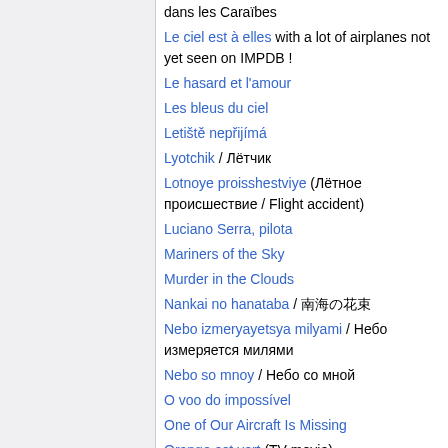dans les Caraïbes
Le ciel est à elles with a lot of airplanes not yet seen on IMPDB !
Le hasard et l'amour
Les bleus du ciel
Letiště nepřijímá
Lyotchik / Лётчик
Lotnoye proisshestviye (Лётное происшествие / Flight accident)
Luciano Serra, pilota
Mariners of the Sky
Murder in the Clouds
Nankai no hanataba / 南海の花束
Nebo izmeryayetsya milyami / Небо измеряется милями
Nebo so mnoy / Небо со мной
O voo do impossível
One of Our Aircraft Is Missing
Orange est vert (TV movie)
Over Here